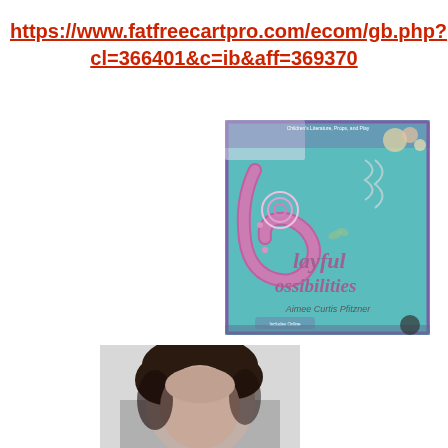https://www.fatfreecartpro.com/ecom/gb.php?cl=366401&c=ib&aff=369370
[Figure (photo): Book cover of 'Playful Possibilities' by Aimee Curtis Pfitzner, a children's literature resource with a teal/blue background featuring a decorative 'P' motif.]
[Figure (photo): Black and white photograph showing the top of a person's head with dark hair.]